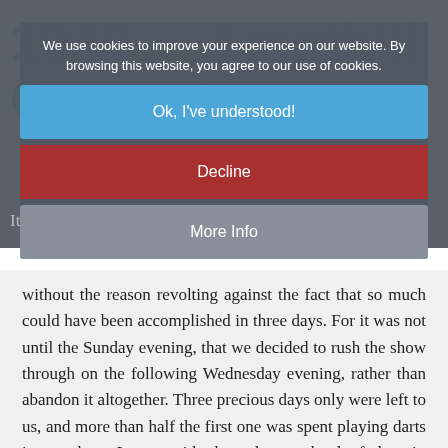1940 Ampthill Concert
We use cookies to improve your experience on our website. By browsing this website, you agree to our use of cookies.
Ok, I've understood!
Decline
More Info
It is difficult to look back on the Ampthill Concert without the reason revolting against the fact that so much could have been accomplished in three days. For it was not until the Sunday evening, that we decided to rush the show through on the following Wednesday evening, rather than abandon it altogether. Three precious days only were left to us, and more than half the first one was spent playing darts in a pub at Luton, with the calmness bred of despair, awaiting what Mr. Hammer pleases to call a "pungently philosophical costumier." To me he was all unmitigated nuisance, rousing me first to a positive